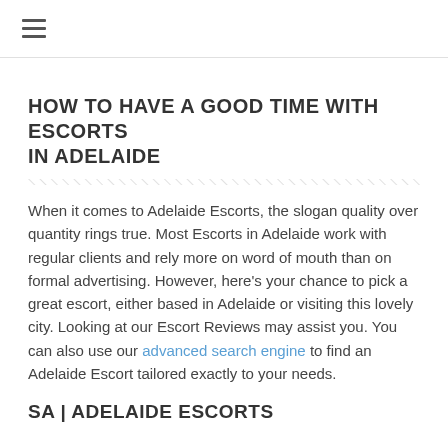≡
HOW TO HAVE A GOOD TIME WITH ESCORTS IN ADELAIDE
When it comes to Adelaide Escorts, the slogan quality over quantity rings true. Most Escorts in Adelaide work with regular clients and rely more on word of mouth than on formal advertising. However, here's your chance to pick a great escort, either based in Adelaide or visiting this lovely city. Looking at our Escort Reviews may assist you. You can also use our advanced search engine to find an Adelaide Escort tailored exactly to your needs.
SA | ADELAIDE ESCORTS